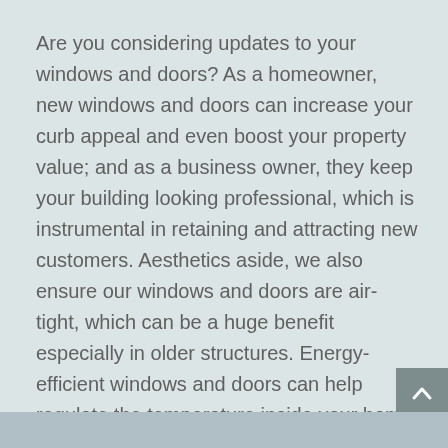Are you considering updates to your windows and doors? As a homeowner, new windows and doors can increase your curb appeal and even boost your property value; and as a business owner, they keep your building looking professional, which is instrumental in retaining and attracting new customers. Aesthetics aside, we also ensure our windows and doors are air-tight, which can be a huge benefit especially in older structures. Energy-efficient windows and doors can help regulate the temperature inside your home or business, keeping the cost of bills down.